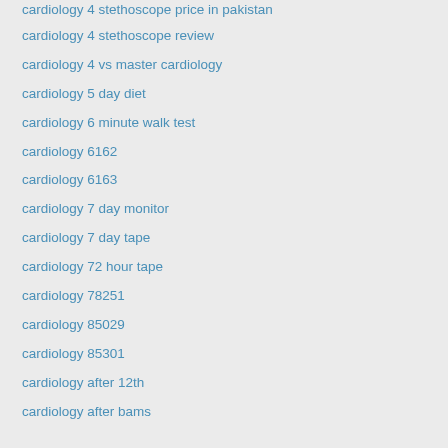cardiology 4 stethoscope price in pakistan
cardiology 4 stethoscope review
cardiology 4 vs master cardiology
cardiology 5 day diet
cardiology 6 minute walk test
cardiology 6162
cardiology 6163
cardiology 7 day monitor
cardiology 7 day tape
cardiology 72 hour tape
cardiology 78251
cardiology 85029
cardiology 85301
cardiology after 12th
cardiology after bams